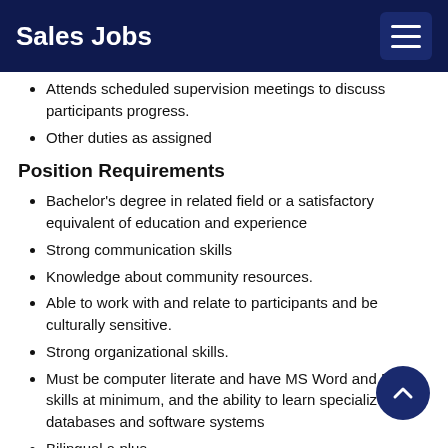Sales Jobs
Attends scheduled supervision meetings to discuss participants progress.
Other duties as assigned
Position Requirements
Bachelor's degree in related field or a satisfactory equivalent of education and experience
Strong communication skills
Knowledge about community resources.
Able to work with and relate to participants and be culturally sensitive.
Strong organizational skills.
Must be computer literate and have MS Word and Excel skills at minimum, and the ability to learn specialized databases and software systems
Bilingual a plus